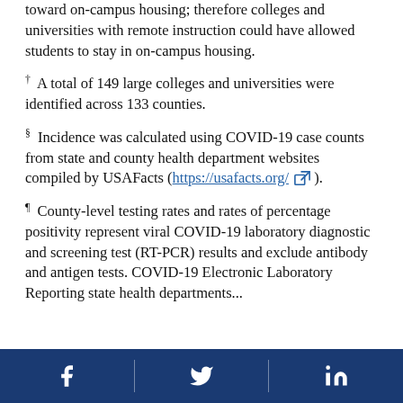toward on-campus housing; therefore colleges and universities with remote instruction could have allowed students to stay in on-campus housing.
† A total of 149 large colleges and universities were identified across 133 counties.
§ Incidence was calculated using COVID-19 case counts from state and county health department websites compiled by USAFacts (https://usafacts.org/ [external link]).
¶ County-level testing rates and rates of percentage positivity represent viral COVID-19 laboratory diagnostic and screening test (RT-PCR) results and exclude antibody and antigen tests. COVID-19 Electronic Laboratory Reporting state health departments...
Facebook | Twitter | LinkedIn